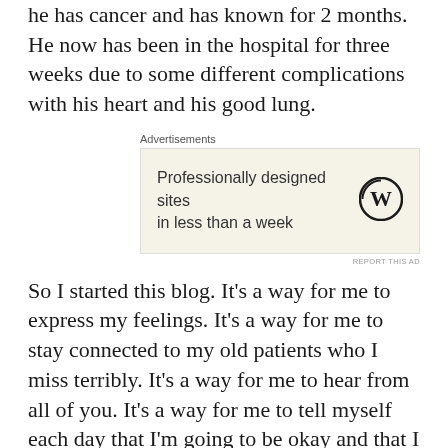he has cancer and has known for 2 months. He now has been in the hospital for three weeks due to some different complications with his heart and his good lung.
[Figure (other): WordPress advertisement banner with text 'Professionally designed sites in less than a week' and WordPress logo]
So I started this blog. It's a way for me to express my feelings. It's a way for me to stay connected to my old patients who I miss terribly. It's a way for me to hear from all of you. It's a way for me to tell myself each day that I'm going to be okay and that I can continue to do what I love to do. I had about five more years before I retired. Now, I literally have to start over. And I will. And I'll be better for it. I won't lose my faith. I believe in God and I believe that everything happens for a reason. I believe that the truth will be revealed